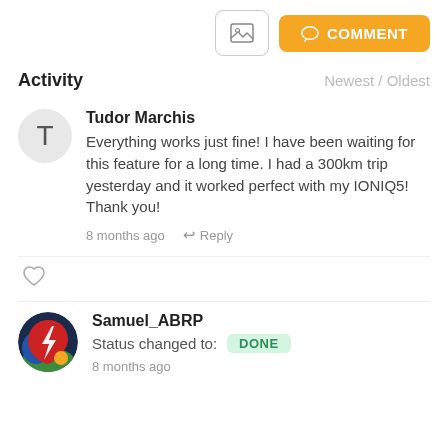[Figure (screenshot): Top action bar with image icon button and orange COMMENT button]
Activity
Newest / Oldest
Tudor Marchis
Everything works just fine! I have been waiting for this feature for a long time. I had a 300km trip yesterday and it worked perfect with my IONIQ5! Thank you!
8 months ago  Reply
[Figure (illustration): Heart/like icon (outline)]
Samuel_ABRP
Status changed to: DONE
8 months ago